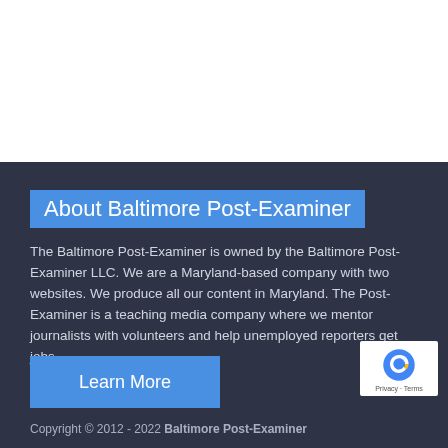About Baltimore Post-Examiner
The Baltimore Post-Examiner is owned by the Baltimore Post-Examiner LLC. We are a Maryland-based company with two websites. We produce all our content in Maryland. The Post-Examiner is a teaching media company where we mentor journalists with volunteers and help unemployed reporters get jobs.
[Figure (other): Learn More button — blue rectangle with white text]
[Figure (logo): Google reCAPTCHA badge with Privacy and Terms links]
Copyright © 2012 - 2022 Baltimore Post-Examiner